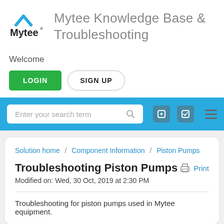[Figure (logo): Mytee logo with blue chevron/mountain mark above the word Mytee with registered trademark symbol]
Mytee Knowledge Base & Troubleshooting
Welcome
LOGIN   SIGN UP
[Figure (screenshot): Blue navigation bar with search box reading 'Enter your search term', two icon buttons, and a hamburger menu icon]
Solution home / Component Information / Piston Pumps
Troubleshooting Piston Pumps
Modified on: Wed, 30 Oct, 2019 at 2:30 PM
Troubleshooting for piston pumps used in Mytee equipment.